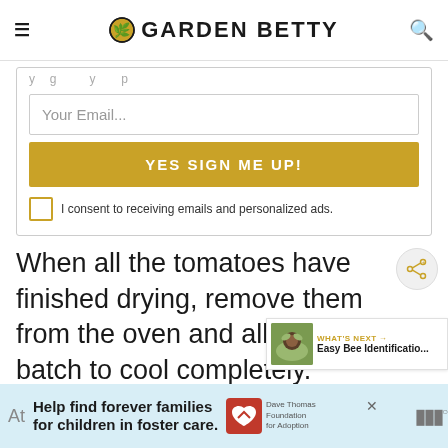GARDEN BETTY
Your Email...
YES SIGN ME UP!
I consent to receiving emails and personalized ads.
When all the tomatoes have finished drying, remove them from the oven and allow the batch to cool completely.
[Figure (screenshot): What's Next widget showing Easy Bee Identification article with a bee on a flower]
[Figure (screenshot): Advertisement: Help find forever families for children in foster care. Dave Thomas Foundation for Adoption.]
At